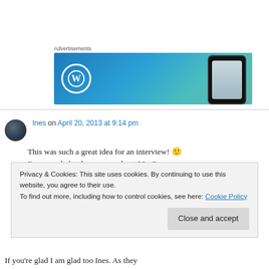Advertisements
[Figure (illustration): WordPress advertisement banner with blue gradient background, WordPress logo (W in circle) on left and phone mockup on right]
Ines on April 20, 2013 at 9:14 pm
This was such a great idea for an interview! 🙂 I'm very glad to learn more about Mr. O.
Privacy & Cookies: This site uses cookies. By continuing to use this website, you agree to their use.
To find out more, including how to control cookies, see here: Cookie Policy
Close and accept
If you're glad I am glad too Ines. As they